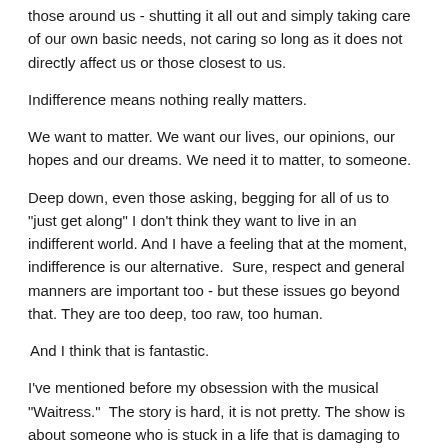those around us - shutting it all out and simply taking care of our own basic needs, not caring so long as it does not directly affect us or those closest to us.
Indifference means nothing really matters.
We want to matter. We want our lives, our opinions, our hopes and our dreams. We need it to matter, to someone.
Deep down, even those asking, begging for all of us to "just get along" I don't think they want to live in an indifferent world. And I have a feeling that at the moment, indifference is our alternative.  Sure, respect and general manners are important too - but these issues go beyond that. They are too deep, too raw, too human.
And I think that is fantastic.
I've mentioned before my obsession with the musical "Waitress."  The story is hard, it is not pretty. The show is about someone who is stuck in a life that is damaging to her because of choices she made when she was younger. Throughout the story, many hard things happen (as they do in stories, and in life) most of it the direct result of choices made both